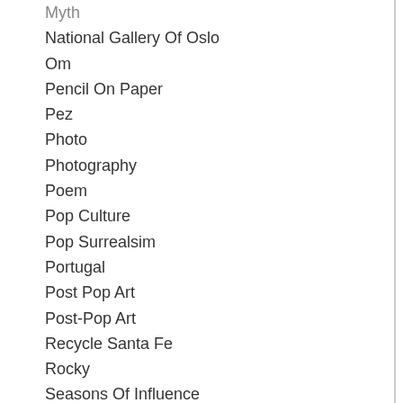Myth
National Gallery Of Oslo
Om
Pencil On Paper
Pez
Photo
Photography
Poem
Pop Culture
Pop Surrealsim
Portugal
Post Pop Art
Post-Pop Art
Recycle Santa Fe
Rocky
Seasons Of Influence
Snow Mack
Studio Tour
STupa
Superman
Toys In Art
Trojan Horse Was A Unicorn